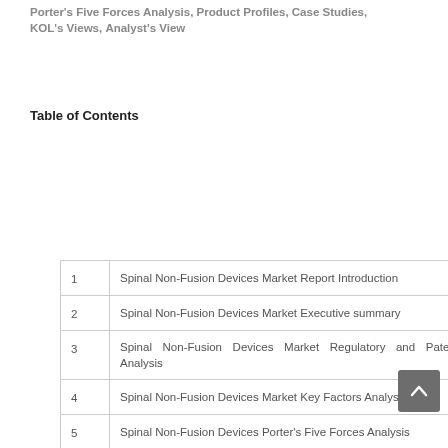Porter's Five Forces Analysis, Product Profiles, Case Studies, KOL's Views, Analyst's View
Table of Contents
| # | Title |
| --- | --- |
| 1 | Spinal Non-Fusion Devices Market Report Introduction |
| 2 | Spinal Non-Fusion Devices Market Executive summary |
| 3 | Spinal Non-Fusion Devices Market Regulatory and Patent Analysis |
| 4 | Spinal Non-Fusion Devices Market Key Factors Analysis |
| 5 | Spinal Non-Fusion Devices Porter's Five Forces Analysis |
| 6 | COVID-19 Impact Analysis on Spinal Non-Fusion Devices Market |